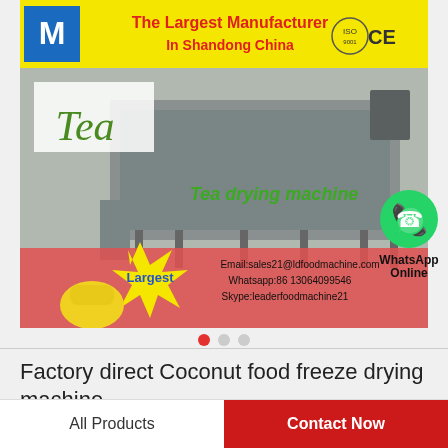[Figure (photo): Product banner showing a tea drying machine with text overlay: 'The Largest Manufacturer In Shandong China' with ISO and CE logos, 'Tea' in green handwriting, 'Tea drying machine' in green, 'Largest' starburst, fist graphic, contact info: Email:sales21@ldfoodmachine.com, Whatsapp:86 13064099546, Skype:leaderfoodmachine21. WhatsApp Online icon on right side.]
Factory direct Coconut food freeze drying machine
All Products
Contact Now